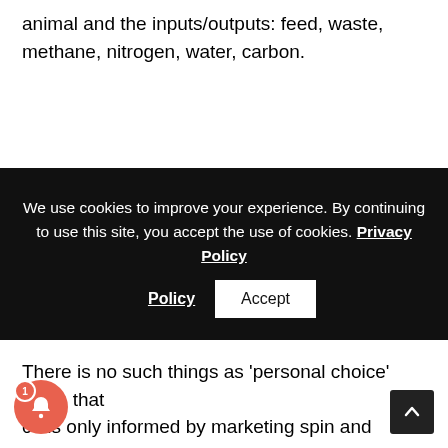animal and the inputs/outputs: feed, waste, methane, nitrogen, water, carbon.
[Figure (screenshot): Cookie consent banner with dark background. Text: 'We use cookies to improve your experience. By continuing to use this site, you accept the use of cookies. Privacy Policy' with an Accept button.]
There is no such things as ‘personal choice’ when that ‘ce is only informed by marketing spin and tradition. The â€˜personal choice’ to eat animals,